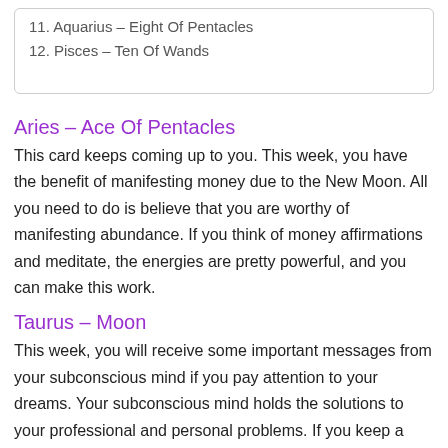11. Aquarius – Eight Of Pentacles
12. Pisces – Ten Of Wands
Aries – Ace Of Pentacles
This card keeps coming up to you. This week, you have the benefit of manifesting money due to the New Moon. All you need to do is believe that you are worthy of manifesting abundance. If you think of money affirmations and meditate, the energies are pretty powerful, and you can make this work.
Taurus – Moon
This week, you will receive some important messages from your subconscious mind if you pay attention to your dreams. Your subconscious mind holds the solutions to your professional and personal problems. If you keep a dream diary next to your bed, you'll be able to note those dreams after waking up before you forget them. Your subconscious may